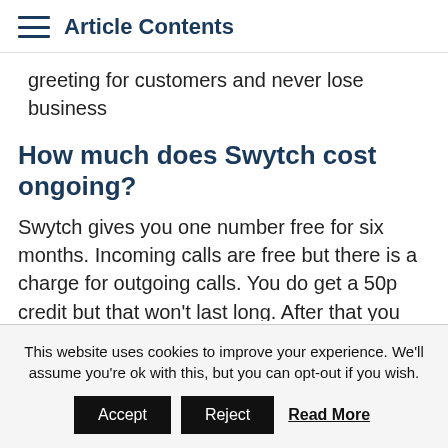Article Contents
greeting for customers and never lose business
How much does Swytch cost ongoing?
Swytch gives you one number free for six months. Incoming calls are free but there is a charge for outgoing calls. You do get a 50p credit but that won't last long. After that you pay £4.99 a month for each number, £14.99 for six months or
This website uses cookies to improve your experience. We'll assume you're ok with this, but you can opt-out if you wish.